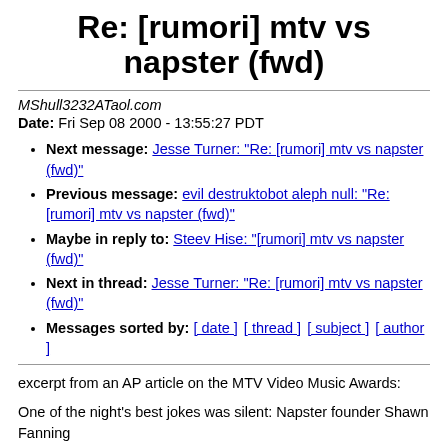Re: [rumori] mtv vs napster (fwd)
MShull3232ATaol.com
Date: Fri Sep 08 2000 - 13:55:27 PDT
Next message: Jesse Turner: "Re: [rumori] mtv vs napster (fwd)"
Previous message: evil destruktobot aleph null: "Re: [rumori] mtv vs napster (fwd)"
Maybe in reply to: Steev Hise: "[rumori] mtv vs napster (fwd)"
Next in thread: Jesse Turner: "Re: [rumori] mtv vs napster (fwd)"
Messages sorted by: [ date ] [ thread ] [ subject ] [ author ]
excerpt from an AP article on the MTV Video Music Awards:
One of the night's best jokes was silent: Napster founder Shawn Fanning
appearing on stage in a Metallica T-shirt. The heavy metal band is